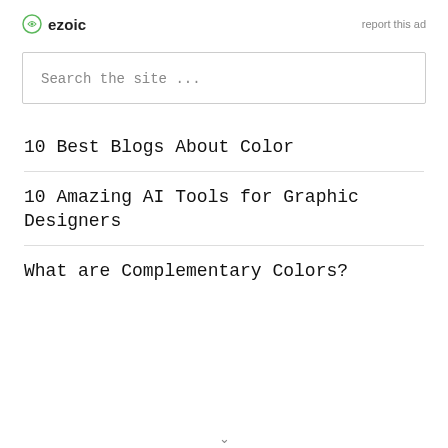[Figure (logo): Ezoic logo with green circular icon and bold 'ezoic' text]
report this ad
Search the site ...
10 Best Blogs About Color
10 Amazing AI Tools for Graphic Designers
What are Complementary Colors?